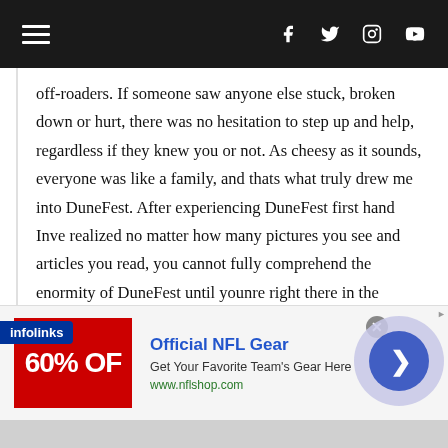Navigation bar with hamburger menu and social icons (Facebook, Twitter, Instagram, YouTube)
off-roaders. If someone saw anyone else stuck, broken down or hurt, there was no hesitation to step up and help, regardless if they knew you or not. As cheesy as it sounds, everyone was like a family, and thats what truly drew me into DuneFest. After experiencing DuneFest first hand Isve realized no matter how many pictures you see and articles you read, you cannot fully comprehend the enormity of DuneFest until youΩre right there in the Winchester Bay dunes. After reading this I hope Isve either sparked your
[Figure (other): Advertisement banner for Official NFL Gear - 60% OFF with red image on left, text in center, circular arrow button on right. Infolinks badge on left side.]